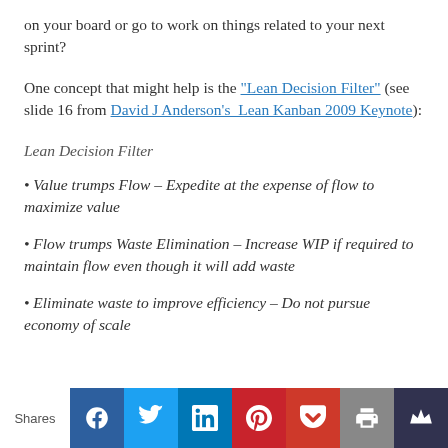on your board or go to work on things related to your next sprint?
One concept that might help is the "Lean Decision Filter" (see slide 16 from David J Anderson's  Lean Kanban 2009 Keynote):
Lean Decision Filter
• Value trumps Flow – Expedite at the expense of flow to maximize value
• Flow trumps Waste Elimination – Increase WIP if required to maintain flow even though it will add waste
• Eliminate waste to improve efficiency – Do not pursue economy of scale